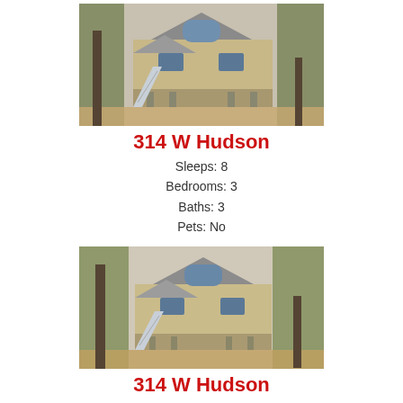[Figure (photo): Exterior photo of a raised beach house with trees in foreground, gray siding, multiple gabled dormers, staircase on left, parking under structure]
314 W Hudson
Sleeps: 8
Bedrooms: 3
Baths: 3
Pets: No
[Figure (photo): Exterior photo of the same raised beach house from a slightly different angle, with large oak trees in foreground, similar gray siding and gabled dormers]
314 W Hudson
Sleeps: 8